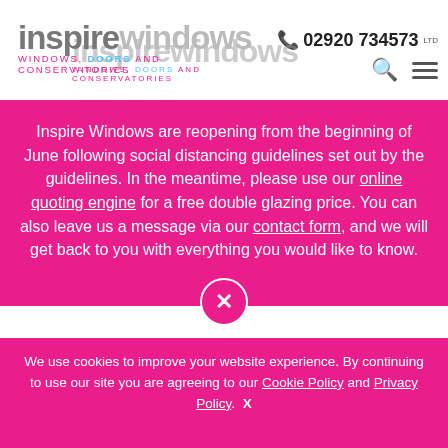[Figure (logo): Inspire Windows Ltd logo with tagline WINDOWS DOORS AND CONSERVATORIES in pink and blue, shown twice overlapping]
02920 734573
Inspire Windows are reopening from the beginning of June following social distancing guidelines set out by the guidelines. In the meantime, please use our online quoting engine for a free double glazing price. You can also leave us a message via our contact form, and we will get back to you with everything you would like to know.
Why not come and visit us to see our fantastic range of double glazing products up close. You can see
We use cookies to improve your website experience. By continuing to use our site you are agreeing to our Cookie Policy and Privacy Policy.  X